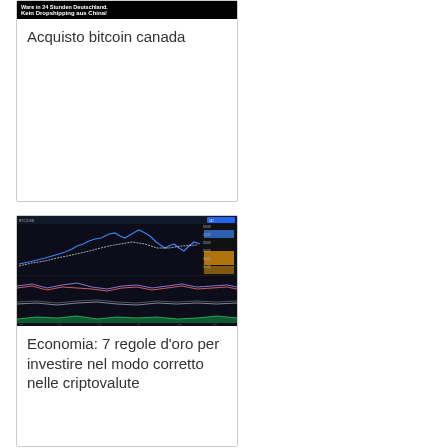[Figure (screenshot): Screenshot of a product banner with bold German text 'Ware in 24 Stunden Deutschland. Kein Dropshipping aus China!' with black background]
Acquisto bitcoin canada
[Figure (screenshot): Screenshot of a financial/cryptocurrency chart with multiple panels: price line chart on dark background (blue line trending up), volume bars (orange/yellow), and multiple oscillator panels below in muted colors]
Economia: 7 regole d'oro per investire nel modo corretto nelle criptovalute